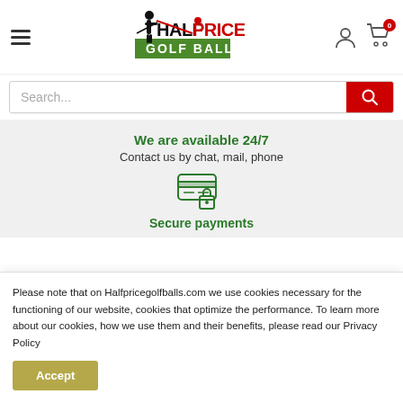[Figure (logo): Half Price Golf Balls logo with golfer silhouette and red/green text]
Search...
We are available 24/7
Contact us by chat, mail, phone
[Figure (illustration): Secure payments icon - credit card with lock]
Secure payments
Please note that on Halfpricegolfballs.com we use cookies necessary for the functioning of our website, cookies that optimize the performance. To learn more about our cookies, how we use them and their benefits, please read our Privacy Policy
Accept